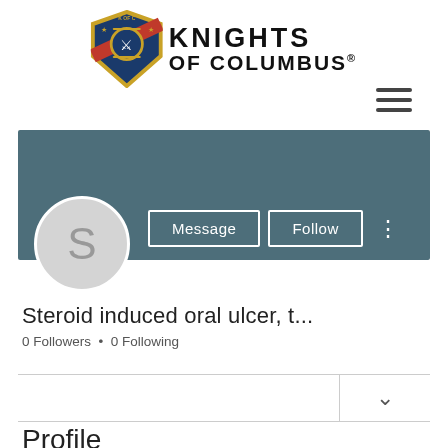[Figure (logo): Knights of Columbus logo with shield emblem and text 'KNIGHTS OF COLUMBUS']
[Figure (infographic): Hamburger/menu icon with three horizontal lines]
[Figure (infographic): Profile banner in teal/slate color with Message and Follow buttons and avatar circle with letter S]
Steroid induced oral ulcer, t...
0 Followers • 0 Following
Profile